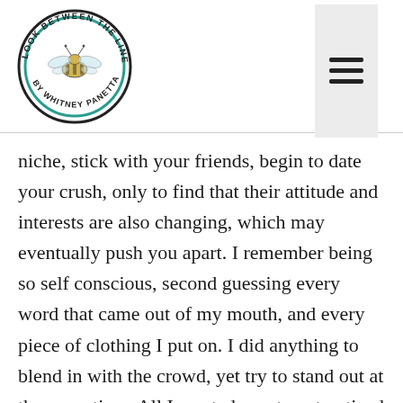[Figure (logo): Circular logo reading 'LOOK BETWEEN THE LINES BY WHITNEY PANETTA' with a bee illustration in the center]
niche, stick with your friends, begin to date your crush, only to find that their attitude and interests are also changing, which may eventually push you apart. I remember being so self conscious, second guessing every word that came out of my mouth, and every piece of clothing I put on. I did anything to blend in with the crowd, yet try to stand out at the same time. All I wanted was to get noticed by the boy I liked and find a way to fit in.